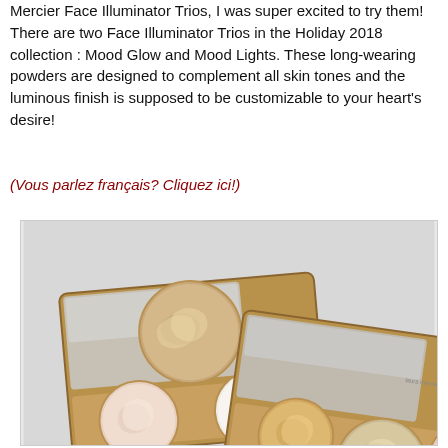Mercier Face Illuminator Trios, I was super excited to try them! There are two Face Illuminator Trios in the Holiday 2018 collection : Mood Glow and Mood Lights. These long-wearing powders are designed to complement all skin tones and the luminous finish is supposed to be customizable to your heart's desire!
(Vous parlez français? Cliquez ici!)
[Figure (photo): Two Laura Mercier Face Illuminator Trio makeup palettes with gold/bronze cases open to reveal circular powder pans with swirled embossed patterns in shimmery champagne, rose, and white tones, displayed on a light grey background.]